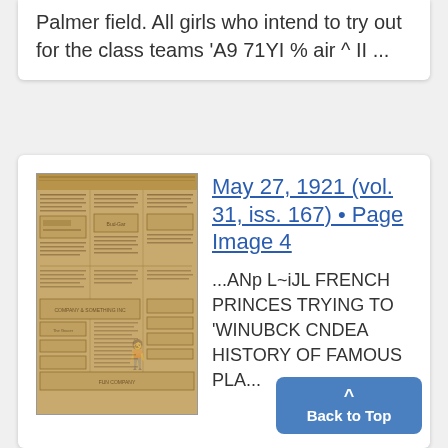Palmer field. All girls who intend to try out for the class teams 'A9 71YI % air ^ II ...
[Figure (photo): Thumbnail image of a historical newspaper page, sepia-toned, showing multiple columns of text and advertisements including a figure illustration.]
May 27, 1921 (vol. 31, iss. 167) • Page Image 4
...ANp L~iJL FRENCH PRINCES TRYING TO 'WINUBCK CNDEA HISTORY OF FAMOUS PLA...